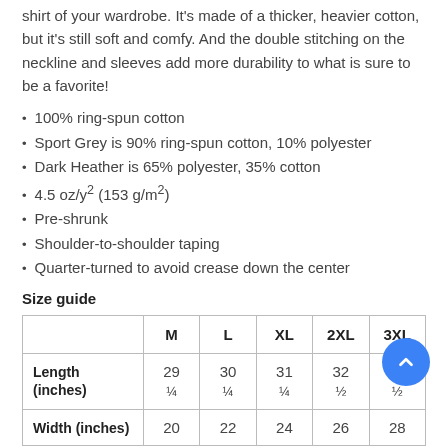shirt of your wardrobe. It's made of a thicker, heavier cotton, but it's still soft and comfy. And the double stitching on the neckline and sleeves add more durability to what is sure to be a favorite!
100% ring-spun cotton
Sport Grey is 90% ring-spun cotton, 10% polyester
Dark Heather is 65% polyester, 35% cotton
4.5 oz/y² (153 g/m²)
Pre-shrunk
Shoulder-to-shoulder taping
Quarter-turned to avoid crease down the center
Size guide
|  | M | L | XL | 2XL | 3XL |
| --- | --- | --- | --- | --- | --- |
| Length (inches) | 29 ¼ | 30 ¼ | 31 ¼ | 32 ½ | 33 ½ |
| Width (inches) | 20 | 22 | 24 | 26 | 28 |